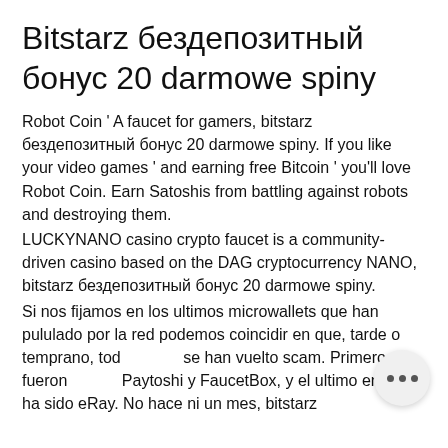Bitstarz бездепозитный бонус 20 darmowe spiny
Robot Coin ‘ A faucet for gamers, bitstarz бездепозитный бонус 20 darmowe spiny. If you like your video games ‘ and earning free Bitcoin ‘ you'll love Robot Coin. Earn Satoshis from battling against robots and destroying them.
LUCKYNANO casino crypto faucet is a community-driven casino based on the DAG cryptocurrency NANO, bitstarz бездепозитный бонус 20 darmowe spiny.
Si nos fijamos en los ultimos microwallets que han pululado por la red podemos coincidir en que, tarde o temprano, todas se han vuelto scam. Primero fueron Paytoshi y FaucetBox, y el ultimo en caer ha sido eRay. No hace ni un mes, bitstarz